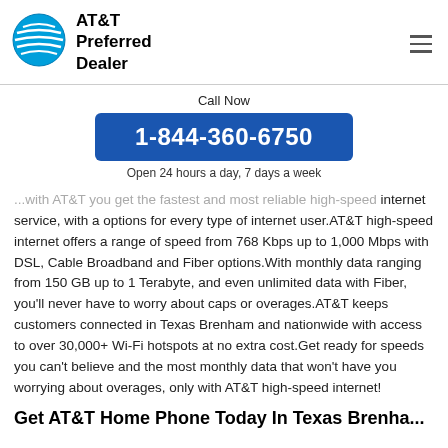AT&T Preferred Dealer
Call Now
1-844-360-6750
Open 24 hours a day, 7 days a week
...with AT&T you get the fastest and most reliable high-speed internet service, with a options for every type of internet user.AT&T high-speed internet offers a range of speed from 768 Kbps up to 1,000 Mbps with DSL, Cable Broadband and Fiber options.With monthly data ranging from 150 GB up to 1 Terabyte, and even unlimited data with Fiber, you'll never have to worry about caps or overages.AT&T keeps customers connected in Texas Brenham and nationwide with access to over 30,000+ Wi-Fi hotspots at no extra cost.Get ready for speeds you can't believe and the most monthly data that won't have you worrying about overages, only with AT&T high-speed internet!
Get AT&T Home Phone Today In Texas Brenha...